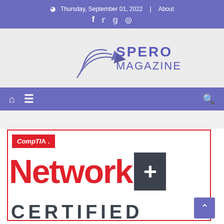Thursday, September 01, 2022 | About
[Figure (logo): Spero Magazine logo with stylized arrow graphic and text SPERO MAGAZINE in blue/purple]
Navigation bar with home, menu, and search icons
[Figure (logo): CompTIA Network+ Certified logo with red Network+ text, dark plus box, and CERTIFIED text below, bordered by red rectangle]